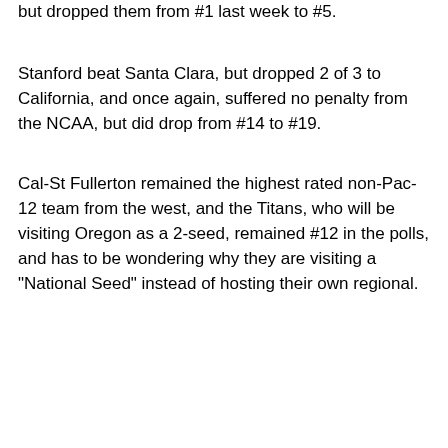but dropped them from #1 last week to #5.
Stanford beat Santa Clara, but dropped 2 of 3 to California, and once again, suffered no penalty from the NCAA, but did drop from #14 to #19.
Cal-St Fullerton remained the highest rated non-Pac-12 team from the west, and the Titans, who will be visiting Oregon as a 2-seed, remained #12 in the polls, and has to be wondering why they are visiting a "National Seed" instead of hosting their own regional.